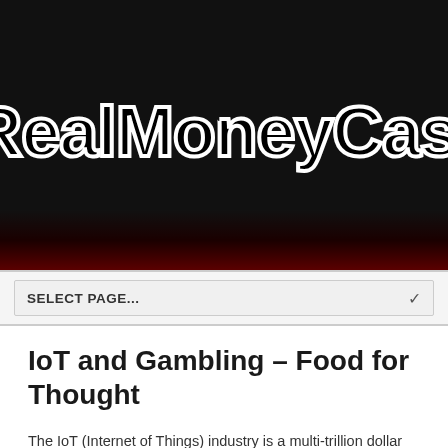[Figure (logo): Real Money Casino website banner with large stylized white-outlined black text on dark background with dark red accent at bottom]
SELECT PAGE...
IoT and Gambling – Food for Thought
The IoT (Internet of Things) industry is a multi-trillion dollar market that is defined as connected products, services and devices that operate and revolve around the Internet. Ranging from connected